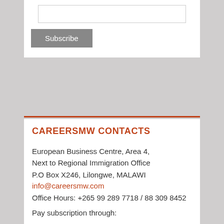[input field]
Subscribe
CAREERSMW CONTACTS
European Business Centre, Area 4,
Next to Regional Immigration Office
P.O Box X246, Lilongwe, MALAWI
info@careersmw.com
Office Hours: +265 99 289 7718 / 88 309 8452
Pay subscription through: